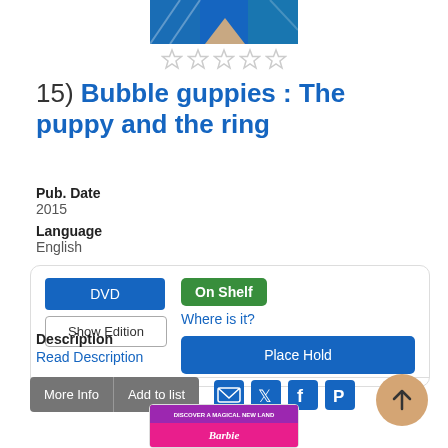[Figure (illustration): DVD cover image with blue and beige design at top]
[Figure (other): Five empty star rating icons]
15) Bubble guppies : The puppy and the ring
Pub. Date
2015
Language
English
DVD | On Shelf | Where is it? | Show Edition | Place Hold
Description
Read Description
More Info | Add to list
[Figure (illustration): Bottom book cover showing Barbie discover a magical new land]